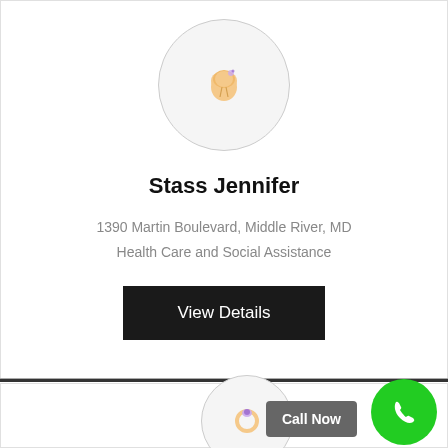[Figure (illustration): Circular avatar with tooth/dental icon on light gray background]
Stass Jennifer
1390 Martin Boulevard, Middle River, MD
Health Care and Social Assistance
View Details
[Figure (illustration): Partial circular avatar with ring/jewelry icon on light gray background, with Call Now button and green phone button overlay]